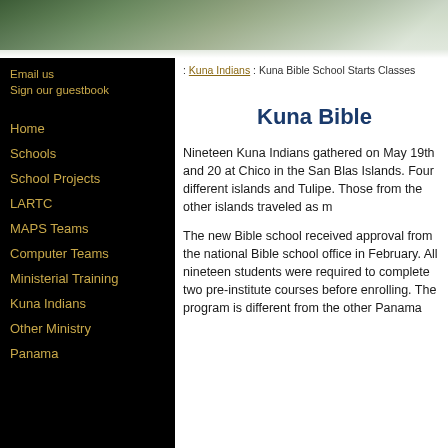[Figure (photo): Green/grey blurred banner photo at top of webpage]
Email us
Sign our guestbook
Home
Schools
School Projects
LARTC
MAPS Teams
Computer Teams
Ministerial Training
Kuna Indians
Other Ministry
Panama
: Kuna Indians : Kuna Bible School Starts Classes
Kuna Bible
Nineteen Kuna Indians gathered on May 19th and 20th at Chico in the San Blas Islands. Four different islands and Tulipe. Those from the other islands traveled as m
The new Bible school received approval from the national Bible school office in February. All nineteen students were required to complete two pre-institute courses before enrolling. The program is different from the other Panama